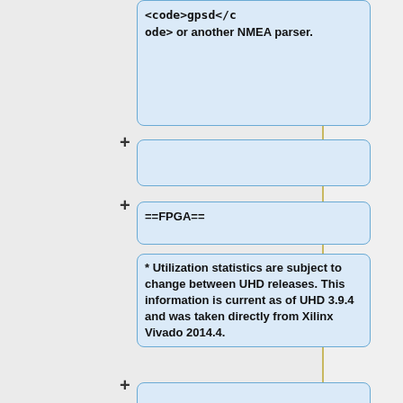<code>gpsd</code> or another NMEA parser.
+
+ ==FPGA==
* Utilization statistics are subject to change between UHD releases. This information is current as of UHD 3.9.4 and was taken directly from Xilinx Vivado 2014.4.
+